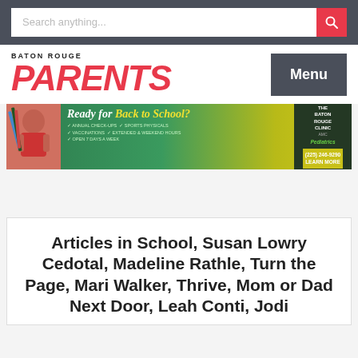Search anything...
[Figure (logo): Baton Rouge Parents magazine logo with red bold italic PARENTS text]
[Figure (infographic): Back to School ad banner for Baton Rouge Clinic, featuring a smiling child with school supplies, text: Ready for Back to School? Annual Check-ups, Sports Physicals, Vaccinations, Extended & Weekend Hours, Open 7 Days a Week. Phone: (225) 246-9290 Learn More. Pediatrics.]
Articles in School, Susan Lowry Cedotal, Madeline Rathle, Turn the Page, Mari Walker, Thrive, Mom or Dad Next Door, Leah Conti, Jodi